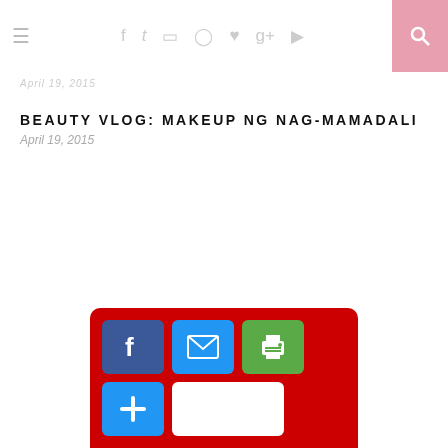Navigation and social icons header with search
April 19, 2015
BEAUTY VLOG: MAKEUP NG NAG-MAMADALI
April 19, 2015
[Figure (infographic): Social share widget with red background containing Facebook, email, print, plus, and blank buttons]